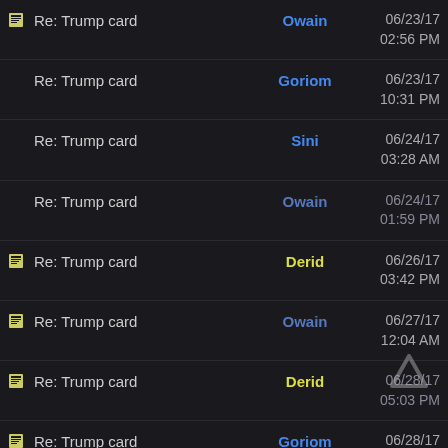Re: Trump card | Owain | 06/23/17 02:56 PM
Re: Trump card | Goriom | 06/23/17 10:31 PM
Re: Trump card | Sini | 06/24/17 03:28 AM
Re: Trump card | Owain | 06/24/17 01:59 PM
Re: Trump card | Derid | 06/26/17 03:42 PM
Re: Trump card | Owain | 06/27/17 12:04 AM
Re: Trump card | Derid | 06/28/17 05:03 PM
Re: Trump card | Goriom | 06/28/17 05:18 PM